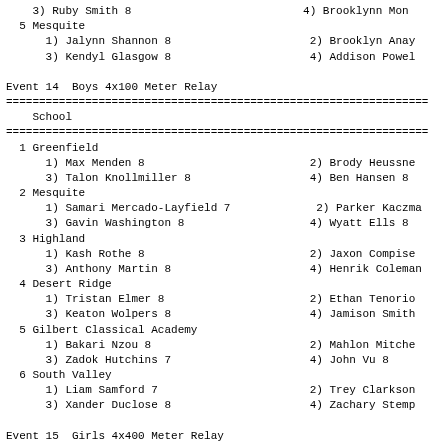3) Ruby Smith 8                                4) Brooklynn Mon
5 Mesquite
    1) Jalynn Shannon 8                             2) Brooklyn Anay
    3) Kendyl Glasgow 8                             4) Addison Powel
Event 14  Boys 4x100 Meter Relay
| School |
| --- |
| 1 Greenfield |
|     1) Max Menden 8 | 2) Brody Heussne |
|     3) Talon Knollmiller 8 | 4) Ben Hansen 8 |
| 2 Mesquite |
|     1) Samari Mercado-Layfield 7 | 2) Parker Kaczma |
|     3) Gavin Washington 8 | 4) Wyatt Ells 8 |
| 3 Highland |
|     1) Kash Rothe 8 | 2) Jaxon Compise |
|     3) Anthony Martin 8 | 4) Henrik Coleman |
| 4 Desert Ridge |
|     1) Tristan Elmer 8 | 2) Ethan Tenorio |
|     3) Keaton Wolpers 8 | 4) Jamison Smith |
| 5 Gilbert Classical Academy |
|     1) Bakari Nzou 8 | 2) Mahlon Mitche |
|     3) Zadok Hutchins 7 | 4) John Vu 8 |
| 6 South Valley |
|     1) Liam Samford 7 | 2) Trey Clarkson |
|     3) Xander Duclose 8 | 4) Zachary Stemp |
Event 15  Girls 4x400 Meter Relay
| School |
| --- |
| 1 Highland |